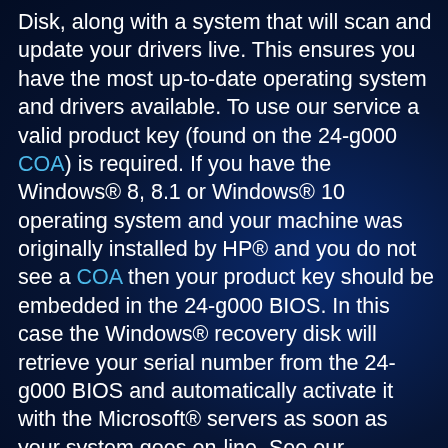Disk, along with a system that will scan and update your drivers live. This ensures you have the most up-to-date operating system and drivers available. To use our service a valid product key (found on the 24-g000 COA) is required. If you have the Windows® 8, 8.1 or Windows® 10 operating system and your machine was originally installed by HP® and you do not see a COA then your product key should be embedded in the 24-g000 BIOS. In this case the Windows® recovery disk will retrieve your serial number from the 24-g000 BIOS and automatically activate it with the Microsoft® servers as soon as your system goes on-line. See our Windows® 10, 8.1 & 8 FAQ on how to retrieve a Windows® 10, 8.1 or 8 product key from the 24-g000 BIOS.